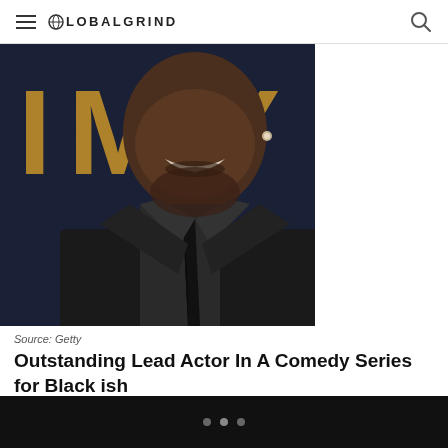GLOBALGRIND
[Figure (photo): Close-up photo of a man in a black suit and tie, smiling, with an Emmy Awards backdrop showing 'IMY' letters in gold]
Source: Getty
Outstanding Lead Actor In A Comedy Series for Black ish